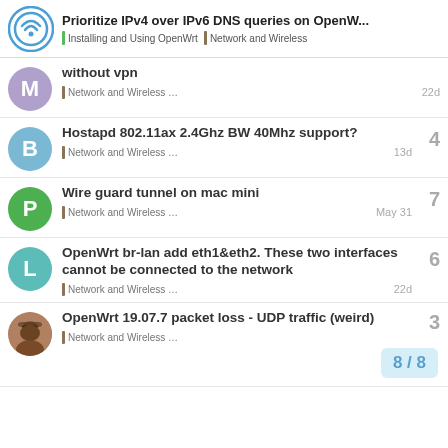Prioritize IPv4 over IPv6 DNS queries on OpenW... | Installing and Using OpenWrt | Network and Wireless
without vpn — Network and Wireless … — 22d
Hostapd 802.11ax 2.4Ghz BW 40Mhz support? — Network and Wireless … — 13d — 4 replies
Wire guard tunnel on mac mini — Network and Wireless … — May 31 — 7 replies
OpenWrt br-lan add eth1&eth2. These two interfaces cannot be connected to the network — Network and Wireless … — 22d — 6 replies
OpenWrt 19.07.7 packet loss - UDP traffic (weird) — Network and Wireless … — 3 replies — 8/8